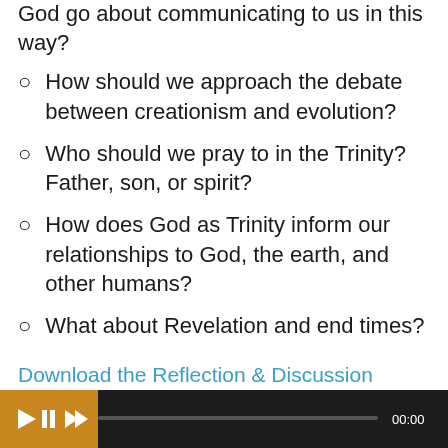God go about communicating to us in this way?
How should we approach the debate between creationism and evolution?
Who should we pray to in the Trinity? Father, son, or spirit?
How does God as Trinity inform our relationships to God, the earth, and other humans?
What about Revelation and end times?
Download the Reflection & Discussion Guide
Discuss more in a Community Group
Subscribe to the podcast via iTunes
[Figure (screenshot): Media player bar with play/pause controls and time display showing 00:00]